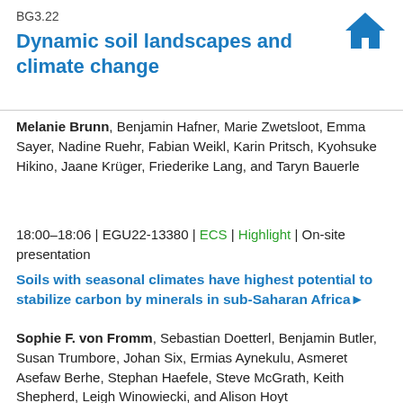BG3.22
Dynamic soil landscapes and climate change
Melanie Brunn, Benjamin Hafner, Marie Zwetsloot, Emma Sayer, Nadine Ruehr, Fabian Weikl, Karin Pritsch, Kyohsuke Hikino, Jaane Krüger, Friederike Lang, and Taryn Bauerle
18:00–18:06 | EGU22-13380 | ECS | Highlight | On-site presentation
Soils with seasonal climates have highest potential to stabilize carbon by minerals in sub-Saharan Africa
Sophie F. von Fromm, Sebastian Doetterl, Benjamin Butler, Susan Trumbore, Johan Six, Ermias Aynekulu, Asmeret Asefaw Berhe, Stephan Haefele, Steve McGrath, Keith Shepherd, Leigh Winowiecki, and Alison Hoyt